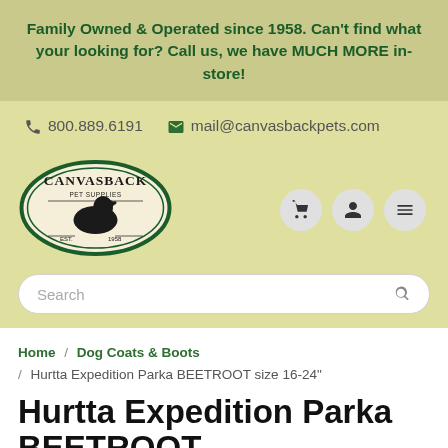Family Owned & Operated since 1958. Can't find what your looking for? Call us, we have MUCH MORE in-store!
800.889.6191   mail@canvasbackpets.com
[Figure (logo): Canvasback Pet Supplies oval logo with duck silhouette and EST. 1958]
Search
Home / Dog Coats & Boots / Hurtta Expedition Parka BEETROOT size 16-24"
Hurtta Expedition Parka BEETROOT